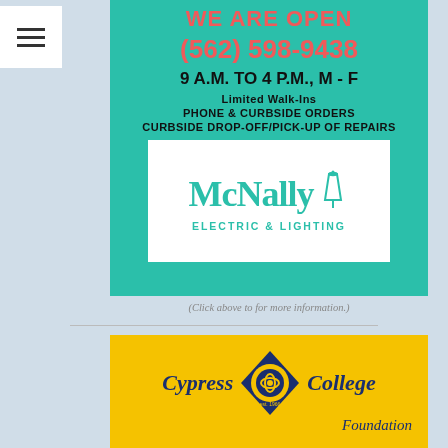[Figure (infographic): McNally Electric & Lighting advertisement on teal background. Text: WE ARE OPEN (562) 598-9438 / 9 A.M. TO 4 P.M., M - F / Limited Walk-Ins / Phone & Curbside Orders / Curbside Drop-Off/Pick-Up of Repairs. White logo box with McNally wordmark and lamp icon, subtitle: ELECTRIC & LIGHTING]
(Click above to for more information.)
[Figure (logo): Cypress College Foundation logo on yellow background with blue diamond emblem and text: Cypress College Foundation]